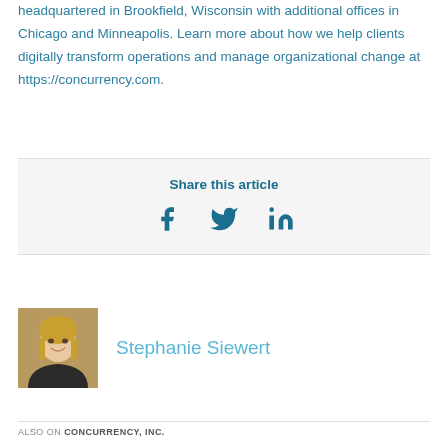headquartered in Brookfield, Wisconsin with additional offices in Chicago and Minneapolis. Learn more about how we help clients digitally transform operations and manage organizational change at https://concurrency.com.
Share this article
[Figure (infographic): Social share icons: Facebook (f), Twitter (bird), LinkedIn (in)]
[Figure (photo): Headshot photo of Stephanie Siewert]
Stephanie Siewert
ALSO ON CONCURRENCY, INC.